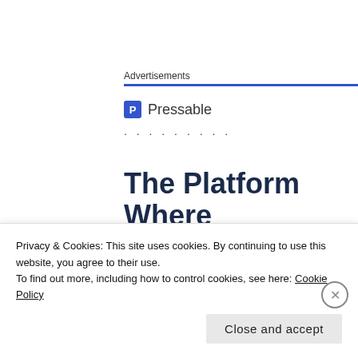Advertisements
[Figure (logo): Pressable logo — blue square icon with letter P and the text 'Pressable' beside it, followed by a row of dots]
The Platform Where WordPress
Printing on the wrong side of the paper
Privacy & Cookies: This site uses cookies. By continuing to use this website, you agree to their use.
To find out more, including how to control cookies, see here: Cookie Policy
Close and accept